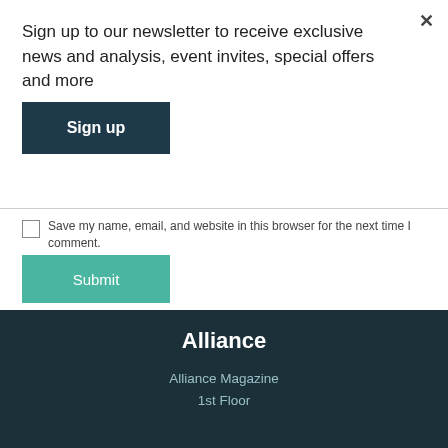Sign up to our newsletter to receive exclusive news and analysis, event invites, special offers and more
Sign up
Save my name, email, and website in this browser for the next time I comment.
Submit
Alliance
Alliance Magazine
1st Floor